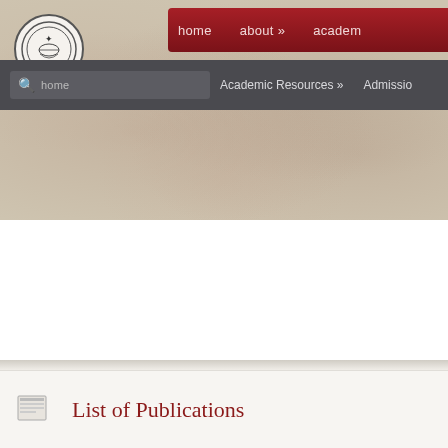[Figure (screenshot): University website header with textured beige/cream background, circular institutional logo on top-left, red navigation bar with 'home', 'about »', 'academ...' links, dark gray secondary navigation bar with search box, 'Academic Resources »' and 'Admissio...' links]
List of Publications